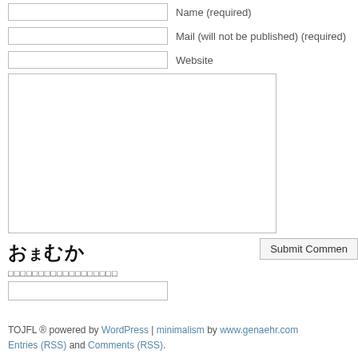Name (required)
Mail (will not be published) (required)
Website
[Figure (other): Japanese CAPTCHA image showing おまむか in bold text]
□□□□□□□□□□□□□□□□□□
TOJFL ® powered by WordPress | minimalism by www.genaehr.com Entries (RSS) and Comments (RSS).